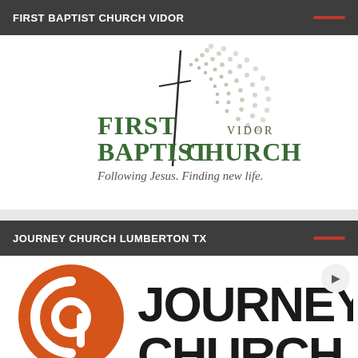FIRST BAPTIST CHURCH VIDOR
[Figure (logo): First Baptist Church Vidor logo with cross surrounded by dotted arc pattern and tagline 'Following Jesus. Finding new life.']
JOURNEY CHURCH LUMBERTON TX
[Figure (logo): Journey Church logo with orange circle containing stylized 'a' mark and text 'JOURNEY CHURCH' in bold sans-serif]